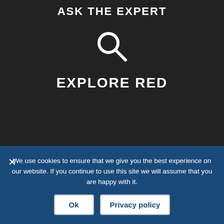ASK THE EXPERT
[Figure (illustration): Magnifying glass / search icon in white on dark background]
EXPLORE RED
Be the first to review this
[Figure (screenshot): Sidebar with store icon, exchange/transfer icon, location pin icon, and message bubble icon]
We use cookies to ensure that we give you the best experience on our website. If you continue to use this site we will assume that you are happy with it.
Ok
Privacy policy